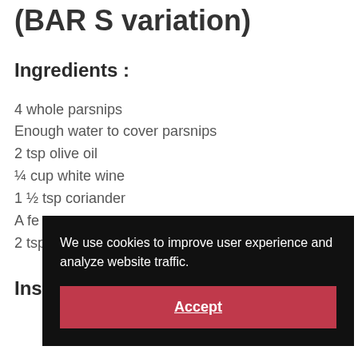(BAR S variation)
Ingredients :
4 whole parsnips
Enough water to cover parsnips
2 tsp olive oil
¼ cup white wine
1 ½ tsp coriander
A fe[w...]
2 tsp[...]
Ins[tructions]
We use cookies to improve user experience and analyze website traffic.
Accept